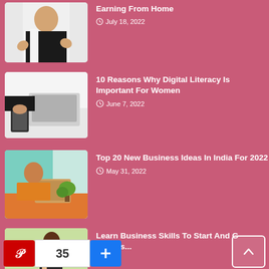[Figure (photo): Woman in black blazer with thumbs up gesture]
Earning From Home
July 18, 2022
[Figure (photo): Woman using laptop and phone at desk]
10 Reasons Why Digital Literacy Is Important For Women
June 7, 2022
[Figure (photo): Woman sitting at desk with laptop in colorful office]
Top 20 New Business Ideas In India For 2022
May 31, 2022
[Figure (photo): Woman reading or working at desk]
Learn Business Skills To Start And G... Your Bus...
35